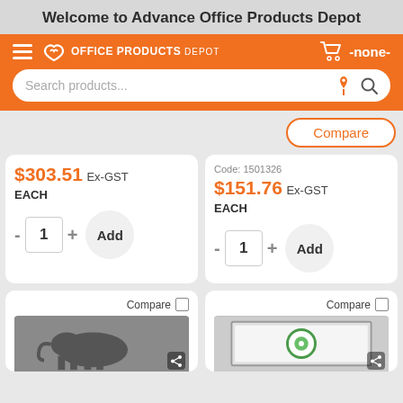Welcome to Advance Office Products Depot
[Figure (screenshot): Office Products Depot orange navigation bar with hamburger menu, logo, cart icon showing -none-, and a search bar with microphone and search icons]
[Figure (infographic): Compare button (orange outlined pill button)]
$303.51 Ex-GST EACH - 1 + Add
Code: 1501326 $151.76 Ex-GST EACH - 1 + Add
Compare □
Compare □
[Figure (photo): Partial thumbnail of a projector screen with an elephant image]
[Figure (photo): Partial thumbnail of a projector screen with a green circle/target icon]